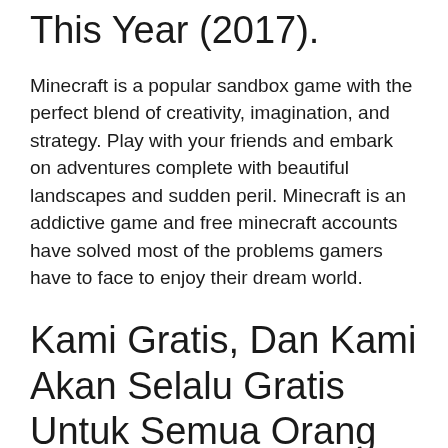This Year (2017).
Minecraft is a popular sandbox game with the perfect blend of creativity, imagination, and strategy. Play with your friends and embark on adventures complete with beautiful landscapes and sudden peril. Minecraft is an addictive game and free minecraft accounts have solved most of the problems gamers have to face to enjoy their dream world.
Kami Gratis, Dan Kami Akan Selalu Gratis Untuk Semua Orang Kapanpun Itu.